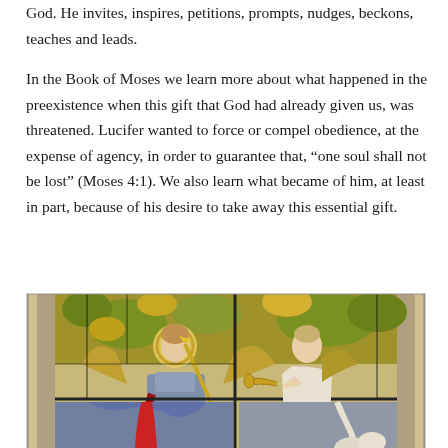God. He invites, inspires, petitions, prompts, nudges, beckons, teaches and leads.
In the Book of Moses we learn more about what happened in the preexistence when this gift that God had already given us, was threatened. Lucifer wanted to force or compel obedience, at the expense of agency, in order to guarantee that, “one soul shall not be lost” (Moses 4:1). We also learn what became of him, at least in part, because of his desire to take away this essential gift.
[Figure (photo): Stained glass window depicting angels, including one with a halo and golden spear in armor, and another angel playing a trumpet, with ornate Gothic architectural details and colorful glass panels.]